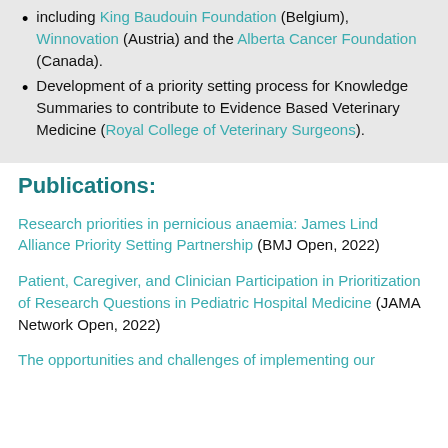including King Baudouin Foundation (Belgium), Winnovation (Austria) and the Alberta Cancer Foundation (Canada).
Development of a priority setting process for Knowledge Summaries to contribute to Evidence Based Veterinary Medicine (Royal College of Veterinary Surgeons).
Publications:
Research priorities in pernicious anaemia: James Lind Alliance Priority Setting Partnership (BMJ Open, 2022)
Patient, Caregiver, and Clinician Participation in Prioritization of Research Questions in Pediatric Hospital Medicine (JAMA Network Open, 2022)
The opportunities and challenges of implementing our